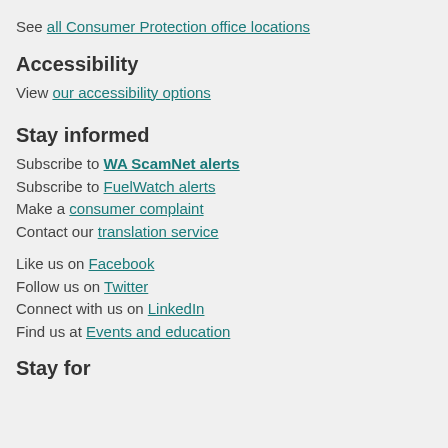See all Consumer Protection office locations
Accessibility
View our accessibility options
Stay informed
Subscribe to WA ScamNet alerts
Subscribe to FuelWatch alerts
Make a consumer complaint
Contact our translation service
Like us on Facebook
Follow us on Twitter
Connect with us on LinkedIn
Find us at Events and education
Stay for more